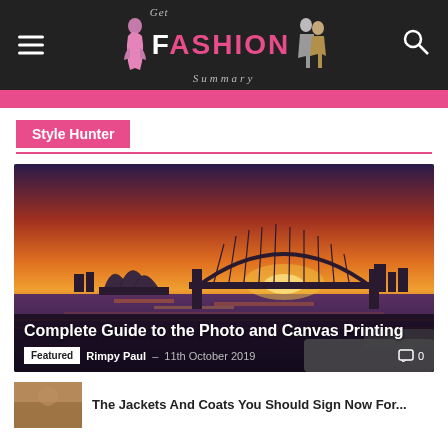Get Fashion Summary
Style Hunter
[Figure (photo): Fashion/lifestyle website article card showing Sydney Opera House and Harbour Bridge at sunset, with article title 'Complete Guide to the Photo and Canvas Printing', tagged Featured, by Rimpy Paul, 11th October 2019, 0 comments]
Complete Guide to the Photo and Canvas Printing
Featured  Rimpy Paul – 11th October 2019  0
[Figure (photo): Thumbnail image for article 'The Jackets And Coats You Should Sign Now For...']
The Jackets And Coats You Should Sign Now For...